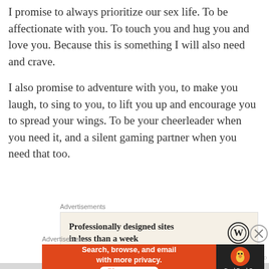I promise to always prioritize our sex life.  To be affectionate with you.  To touch you and hug you and love you. Because this is something I will also need and crave.
I also promise to adventure with you, to make you laugh, to sing to you, to lift you up and encourage you to spread your wings.  To be your cheerleader when you need it, and a silent gaming partner when you need that too.
[Figure (other): WordPress advertisement banner: 'Professionally designed sites in less than a week' with WordPress logo on beige background]
[Figure (other): DuckDuckGo advertisement banner: 'Search, browse, and email with more privacy. All in One Free App' on orange and dark background with duck logo]